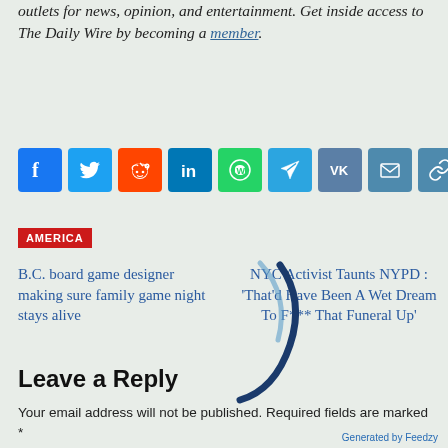outlets for news, opinion, and entertainment. Get inside access to The Daily Wire by becoming a member.
[Figure (infographic): Row of social media share buttons: Facebook, Twitter, Reddit, LinkedIn, WhatsApp, Telegram, VK, Email, Copy link]
AMERICA
B.C. board game designer making sure family game night stays alive
NYC Activist Taunts NYPD : ‘That’d Have Been A Wet Dream To F*** That Funeral Up’
Leave a Reply
Your email address will not be published. Required fields are marked *
Generated by Feedzy